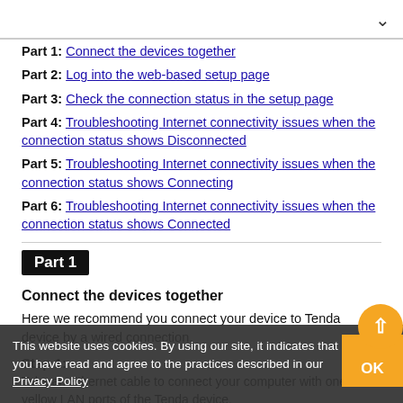Part 1: Connect the devices together
Part 2: Log into the web-based setup page
Part 3: Check the connection status in the setup page
Part 4: Troubleshooting Internet connectivity issues when the connection status shows Disconnected
Part 5: Troubleshooting Internet connectivity issues when the connection status shows Connecting
Part 6: Troubleshooting Internet connectivity issues when the connection status shows Connected
Part 1
Connect the devices together
Here we recommend you connect your device to Tenda device by a wired connection.
Step 1:
Take an Ethernet cable to connect your computer with one of yellow LAN ports of the Tenda device.
Step 2:
Ensure that the light corresponding to the LAN port where th